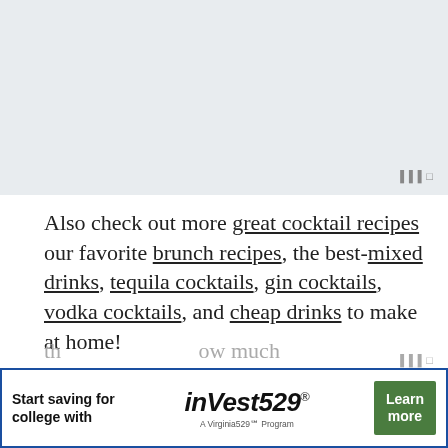[Figure (photo): Top image area, appears to be a food/drink photo, partially visible]
Also check out more great cocktail recipes our favorite brunch recipes, the best-mixed drinks, tequila cocktails, gin cocktails, vodka cocktails, and cheap drinks to make at home!
If you make this Tokyo Mule, let us know h...
[Figure (infographic): Advertisement banner: Start saving for college with inVest529, A Virginia529 Program. Learn more button.]